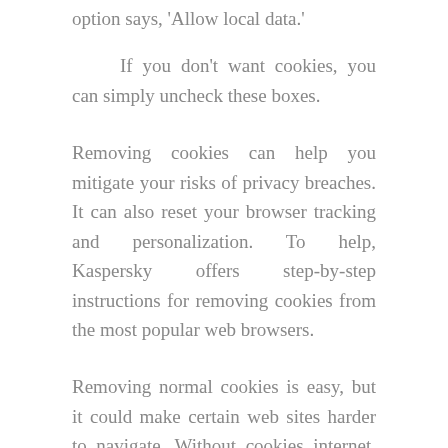option says, 'Allow local data.'
If you don't want cookies, you can simply uncheck these boxes.
Removing cookies can help you mitigate your risks of privacy breaches. It can also reset your browser tracking and personalization. To help, Kaspersky offers step-by-step instructions for removing cookies from the most popular web browsers.
Removing normal cookies is easy, but it could make certain web sites harder to navigate. Without cookies internet, users may have to re-enter their data for each visit. Different browsers store cookies in different places, but usually, you can: